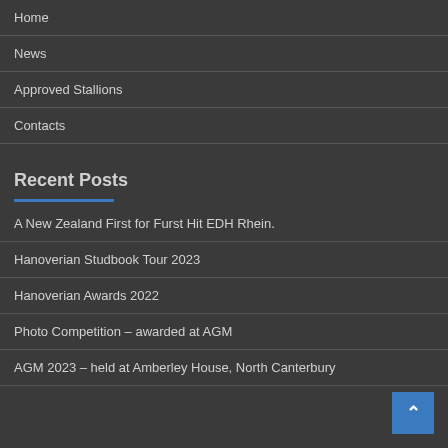Home
News
Approved Stallions
Contacts
Recent Posts
A New Zealand First for Furst Hit EDH Rhein.
Hanoverian Studbook Tour 2023
Hanoverian Awards 2022
Photo Competition – awarded at AGM
AGM 2023 – held at Amberley House, North Canterbury